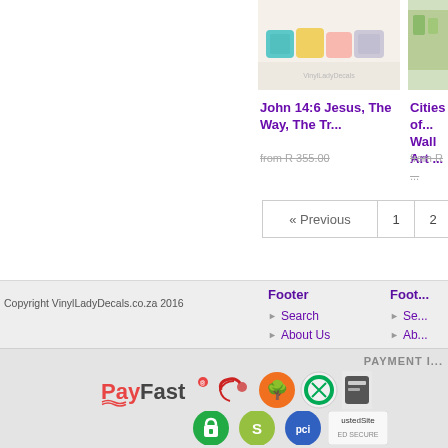[Figure (screenshot): Product card: John 14:6 Jesus pillow wall art with decorative pillow image]
John 14:6 Jesus, The Way, The Tr...
from R 355.00
[Figure (screenshot): Product card: Cities of Wall Art (partially visible)]
Cities of... Wall Art ...
from R ...
[Figure (infographic): Pagination bar with Previous, 1, 2, 3, ...]
Copyright VinylLadyDecals.co.za 2016
Footer
Search
About Us
Contact Us
Foot...
Se...
Ab...
Co...
PAYMENT I...
[Figure (infographic): Payment method logos: PayFast, and other payment icons including green padlock, Shopify, PCI, TrustedSite]